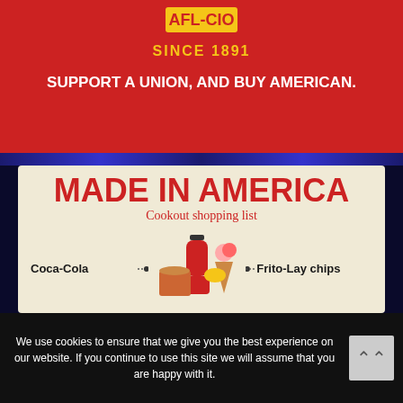[Figure (infographic): Red banner with 'SINCE 1891' in gold text and union logo at top, with white bold text 'SUPPORT A UNION, AND BUY AMERICAN.']
[Figure (infographic): Beige infographic titled 'MADE IN AMERICA - Cookout shopping list' listing: Coca-Cola, Budweiser beer, Foster Farms fresh chicken on left; Frito-Lay chips, Breyers ice cream, Oscar Mayer hot dogs on right; with illustrated cookout items in center.]
We use cookies to ensure that we give you the best experience on our website. If you continue to use this site we will assume that you are happy with it.